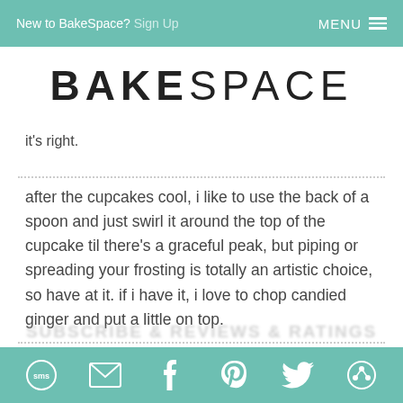New to BakeSpace? Sign Up  MENU ☰
BAKESPACE
it's right.
after the cupcakes cool, i like to use the back of a spoon and just swirl it around the top of the cupcake til there's a graceful peak, but piping or spreading your frosting is totally an artistic choice, so have at it. if i have it, i love to chop candied ginger and put a little on top.
SMS, Email, Facebook, Pinterest, Twitter, Share icons